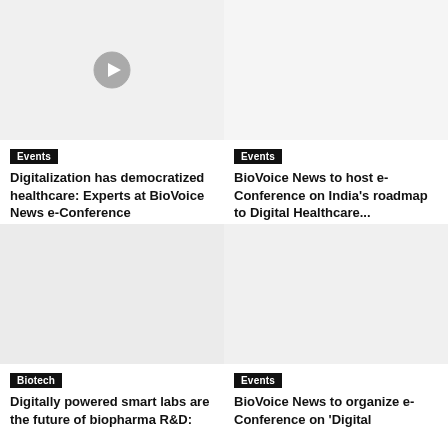[Figure (screenshot): Video thumbnail with play button for Events article about digitalization in healthcare]
Events
Digitalization has democratized healthcare: Experts at BioVoice News e-Conference
[Figure (screenshot): Image area for Events article about BioVoice News e-Conference on India's roadmap to Digital Healthcare]
Events
BioVoice News to host e-Conference on India's roadmap to Digital Healthcare...
[Figure (screenshot): Image area for Biotech article about smart labs]
Biotech
Digitally powered smart labs are the future of biopharma R&D:
[Figure (screenshot): Image area for Events article about BioVoice News e-Conference on Digital]
Events
BioVoice News to organize e-Conference on 'Digital